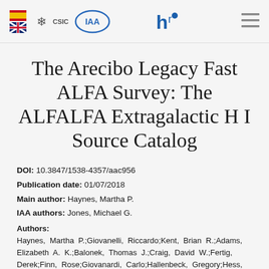IAA CSIC logos header with navigation icons
The Arecibo Legacy Fast ALFA Survey: The ALFALFA Extragalactic H I Source Catalog
DOI: 10.3847/1538-4357/aac956
Publication date: 01/07/2018
Main author: Haynes, Martha P.
IAA authors: Jones, Michael G.
Authors: Haynes, Martha P.;Giovanelli, Riccardo;Kent, Brian R.;Adams, Elizabeth A. K.;Balonek, Thomas J.;Craig, David W.;Fertig, Derek;Finn, Rose;Giovanardi, Carlo;Hallenbeck, Gregory;Hess, Kelley M.;Hoffman, G. Lyle;Huang, Shan;Jones, Michael